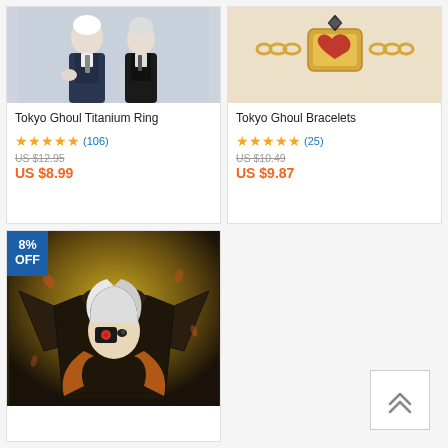[Figure (photo): Tokyo Ghoul anime product listing card showing anime characters in suits - top left]
Tokyo Ghoul Titanium Ring
★★★★★ (106)
US $12.95 (strikethrough) US $8.99
[Figure (photo): Tokyo Ghoul Bracelets product listing card showing gold bracelet with heart - top right]
Tokyo Ghoul Bracelets
★★★★★ (25)
US $10.49 (strikethrough) US $9.87
[Figure (photo): Tokyo Ghoul anime sweatshirt with 8% OFF badge - bottom left, showing Kaneki Ken character print]
[Figure (other): Scroll to top button with double chevron up arrow - bottom right]